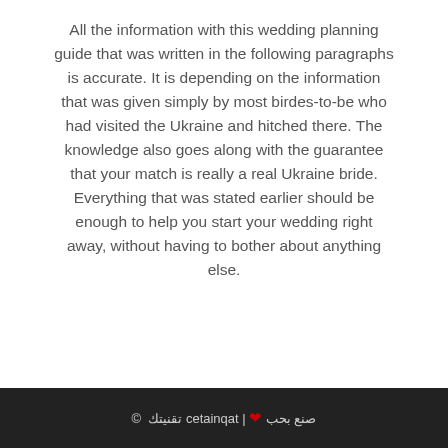All the information with this wedding planning guide that was written in the following paragraphs is accurate. It is depending on the information that was given simply by most birdes-to-be who had visited the Ukraine and hitched there. The knowledge also goes along with the guarantee that your match is really a real Ukraine bride. Everything that was stated earlier should be enough to help you start your wedding right away, without having to bother about anything else.
صنع بحب ❤ | تقنيتك taqniatec ©